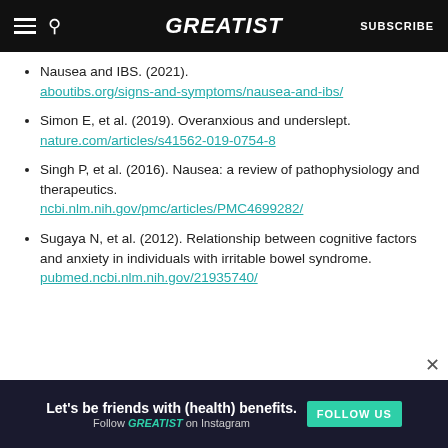GREATIST | SUBSCRIBE
Nausea and IBS. (2021). aboutibs.org/signs-and-symptoms/nausea-and-ibs/
Simon E, et al. (2019). Overanxious and underslept. nature.com/articles/s41562-019-0754-8
Singh P, et al. (2016). Nausea: a review of pathophysiology and therapeutics. ncbi.nlm.nih.gov/pmc/articles/PMC4699282/
Sugaya N, et al. (2012). Relationship between cognitive factors and anxiety in individuals with irritable bowel syndrome. pubmed.ncbi.nlm.nih.gov/21935740/
ADVERTISEMENT
[Figure (infographic): Advertisement banner: Let's be friends with (health) benefits. Follow GREATIST on Instagram. FOLLOW US button.]